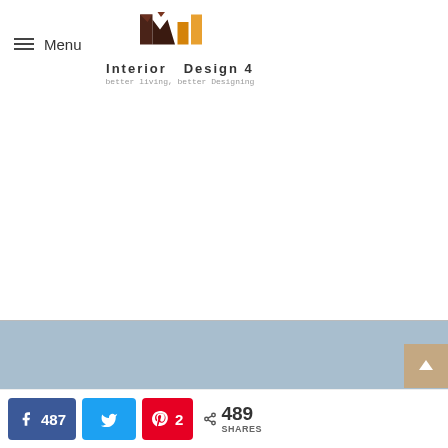[Figure (logo): Interior Design 4 logo with geometric M-shaped icon in brown, orange, and gold colors. Tagline: better living, better Designing]
[Figure (other): Empty white advertisement area]
[Figure (other): Light blue/gray banner advertisement area]
Recent Posts
487 (Facebook shares) | Twitter share | 2 (Pinterest) | 489 SHARES